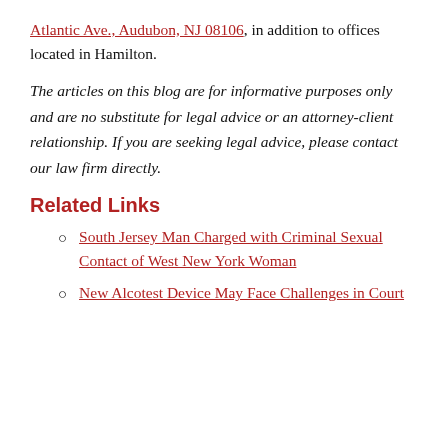Atlantic Ave., Audubon, NJ 08106, in addition to offices located in Hamilton.
The articles on this blog are for informative purposes only and are no substitute for legal advice or an attorney-client relationship. If you are seeking legal advice, please contact our law firm directly.
Related Links
South Jersey Man Charged with Criminal Sexual Contact of West New York Woman
New Alcotest Device May Face Challenges in Court